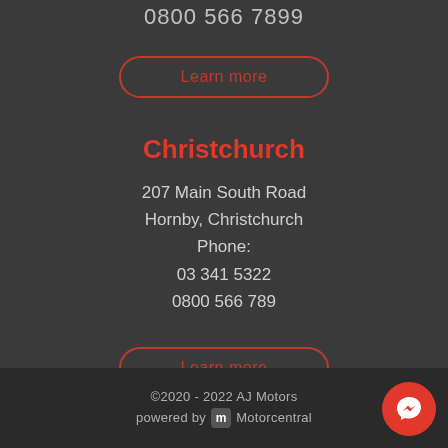0800 566 7899
Learn more
Christchurch
207 Main South Road
Hornby, Christchurch
Phone:
03 341 5322
0800 566 789
Learn more
©2020 - 2022 AJ Motors powered by Motorcentral